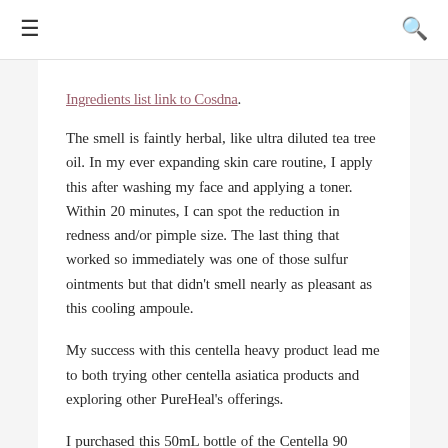≡  🔍
Ingredients list link to Cosdna.
The smell is faintly herbal, like ultra diluted tea tree oil. In my ever expanding skin care routine, I apply this after washing my face and applying a toner. Within 20 minutes, I can spot the reduction in redness and/or pimple size. The last thing that worked so immediately was one of those sulfur ointments but that didn't smell nearly as pleasant as this cooling ampoule.
My success with this centella heavy product lead me to both trying other centella asiatica products and exploring other PureHeal's offerings.
I purchased this 50mL bottle of the Centella 90 Ampoule from eBay for $28. Note that when pricing out this ampoule that it also comes in a 30mL, I almost made the